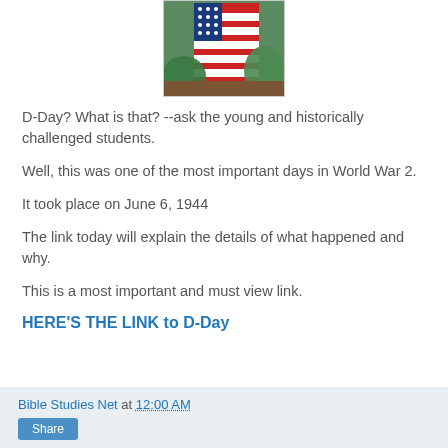[Figure (photo): An American flag displayed outdoors with green trees/foliage in the background]
D-Day?  What is that? --ask the young and historically challenged students.
Well, this was one of the most important days in World War 2.
It took place on June 6, 1944
The link today will explain the details of what happened and why.
This is a most important and must view link.
HERE'S THE LINK to D-Day
Bible Studies Net at 12:00 AM